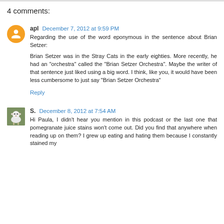4 comments:
apl  December 7, 2012 at 9:59 PM
Regarding the use of the word eponymous in the sentence about Brian Setzer:

Brian Setzer was in the Stray Cats in the early eighties. More recently, he had an "orchestra" called the "Brian Setzer Orchestra". Maybe the writer of that sentence just liked using a big word. I think, like you, it would have been less cumbersome to just say "Brian Setzer Orchestra"
Reply
S.  December 8, 2012 at 7:54 AM
Hi Paula, I didn't hear you mention in this podcast or the last one that pomegranate juice stains won't come out. Did you find that anywhere when reading up on them? I grew up eating and hating them because I constantly stained my